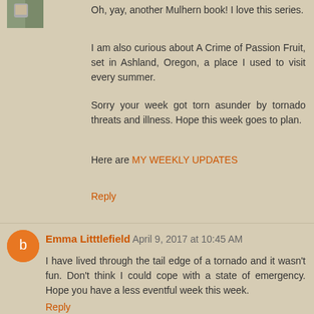[Figure (photo): Small avatar thumbnail image of a person in top left corner]
Oh, yay, another Mulhern book! I love this series.
I am also curious about A Crime of Passion Fruit, set in Ashland, Oregon, a place I used to visit every summer.
Sorry your week got torn asunder by tornado threats and illness. Hope this week goes to plan.
Here are MY WEEKLY UPDATES
Reply
Emma Litttlefield April 9, 2017 at 10:45 AM
I have lived through the tail edge of a tornado and it wasn't fun. Don't think I could cope with a state of emergency. Hope you have a less eventful week this week.
Reply